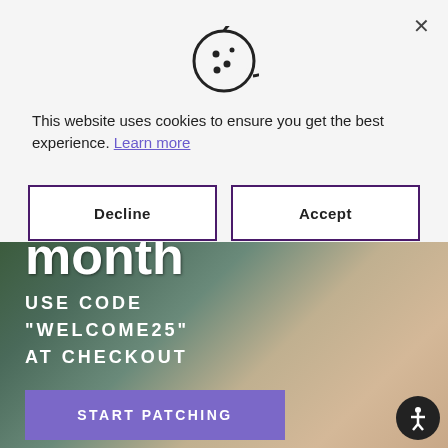[Figure (screenshot): Cookie consent modal dialog overlaying a website. The modal has a cookie icon at top center, text explaining cookie usage, a 'Learn more' link, and two buttons: 'Decline' and 'Accept' with purple borders.]
This website uses cookies to ensure you get the best experience. Learn more
Decline
Accept
[Figure (photo): Background photo of a woman with a blue patch on her upper arm, with green plant visible. Text overlay reads: 'month USE CODE "WELCOME25" AT CHECKOUT' and a 'START PATCHING' button.]
month
USE CODE "WELCOME25" AT CHECKOUT
START PATCHING